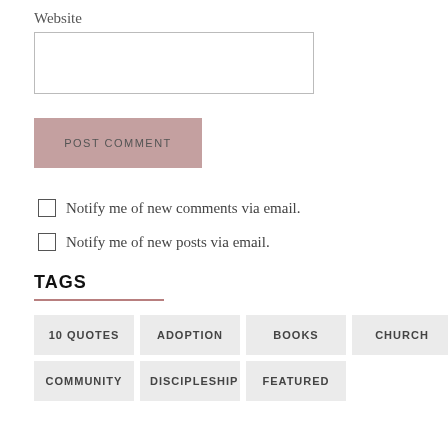Website
POST COMMENT
Notify me of new comments via email.
Notify me of new posts via email.
TAGS
10 QUOTES
ADOPTION
BOOKS
CHURCH
COMMUNITY
DISCIPLESHIP
FEATURED